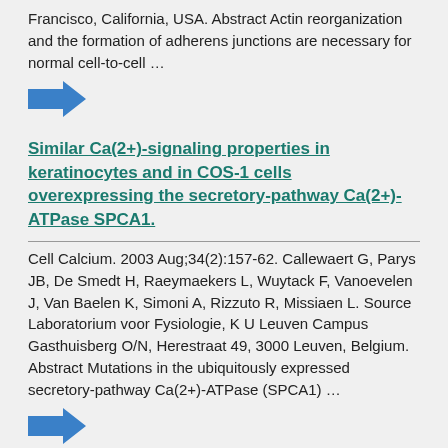Francisco, California, USA. Abstract Actin reorganization and the formation of adherens junctions are necessary for normal cell-to-cell …
[Figure (other): Blue arrow icon indicating a link or more information]
Similar Ca(2+)-signaling properties in keratinocytes and in COS-1 cells overexpressing the secretory-pathway Ca(2+)-ATPase SPCA1.
Cell Calcium. 2003 Aug;34(2):157-62. Callewaert G, Parys JB, De Smedt H, Raeymaekers L, Wuytack F, Vanoevelen J, Van Baelen K, Simoni A, Rizzuto R, Missiaen L. Source Laboratorium voor Fysiologie, K U Leuven Campus Gasthuisberg O/N, Herestraat 49, 3000 Leuven, Belgium. Abstract Mutations in the ubiquitously expressed secretory-pathway Ca(2+)-ATPase (SPCA1) …
[Figure (other): Blue arrow icon indicating a link or more information]
Effects of Hailey-Hailey Disease mutations …